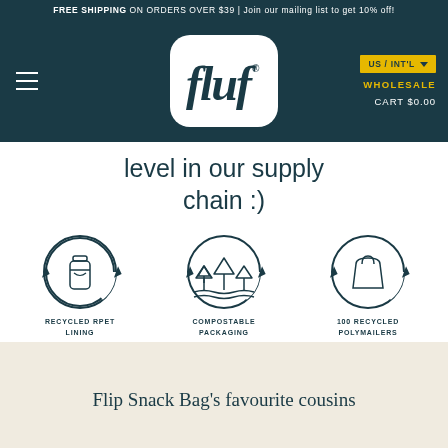FREE SHIPPING ON ORDERS OVER $39 | Join our mailing list to get 10% off!
[Figure (logo): fluf brand logo in white rounded rectangle badge on dark teal navigation bar with hamburger menu, US/INT'L locale selector, WHOLESALE and CART $0.00 links]
level in our supply chain :)
[Figure (infographic): Three circular icons: 1) Recycled RPET Lining - water bottle in recycling circle, 2) Compostable Packaging - trees/plants with water waves in recycling circle, 3) 100 Recycled Polymailers - shopping bag in recycling circle]
RECYCLED RPET LINING
COMPOSTABLE PACKAGING
100 RECYCLED POLYMAILERS
Flip Snack Bag's favourite cousins